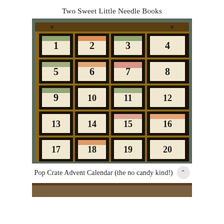Two Sweet Little Needle Books
[Figure (photo): A wooden crate with 20 numbered compartments (1-20), each containing a small decorative card with a number, forming an advent calendar display. The crate has a dark teal/grey background and warm wooden tones.]
Pop Crate Advent Calendar (the no candy kind!)
[Figure (photo): Partial view of another image at the bottom of the page, cropped.]